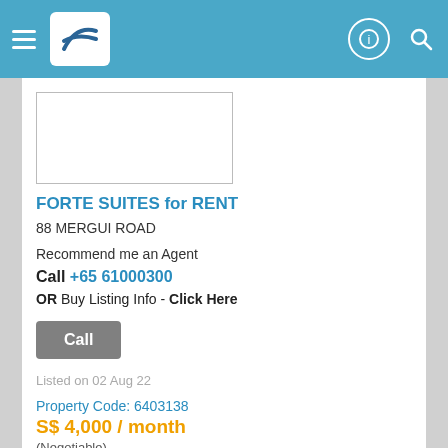FORTE SUITES for RENT — PropertyGuru header bar
[Figure (photo): Property image placeholder (white box with border)]
FORTE SUITES for RENT
88 MERGUI ROAD
Recommend me an Agent
Call +65 61000300
OR Buy Listing Info - Click Here
Call
Listed on 02 Aug 22
Property Code: 6403138
S$ 4,000 / month
(Negotiable)
S$ 5.9 psf (built-in)